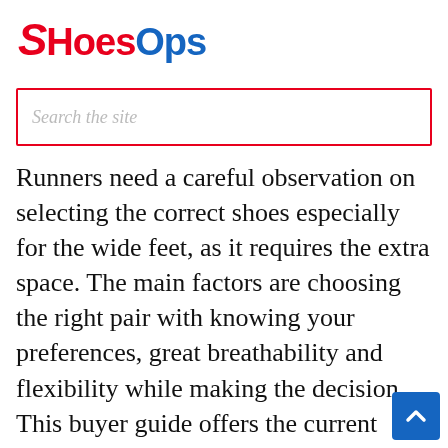[Figure (logo): ShoesOps logo with red stylized S and 'Shoes' in red, 'Ops' in blue, bold sans-serif font]
Search the site
Runners need a careful observation on selecting the correct shoes especially for the wide feet, as it requires the extra space. The main factors are choosing the right pair with knowing your preferences, great breathability and flexibility while making the decision. This buyer guide offers the current editor choice designs that are in trend in between the professional runners. The perfect pairs can revolutionize your experience. If runners need to go for long miles, then they